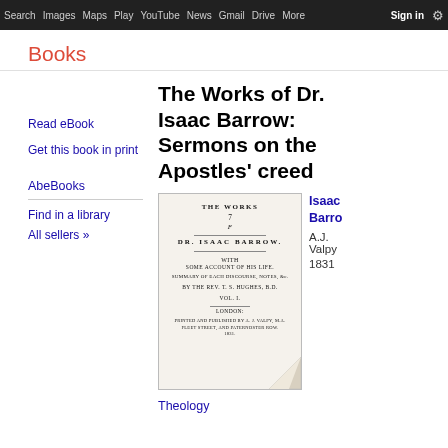Search  Images  Maps  Play  YouTube  News  Gmail  Drive  More  Sign in  Settings
Books
Read eBook
Get this book in print
AbeBooks
Find in a library
All sellers »
The Works of Dr. Isaac Barrow: Sermons on the Apostles' creed
[Figure (photo): Scan of the title page of 'The Works of Dr. Isaac Barrow' showing the book title, author name DR. ISAAC BARROW, subtitle with some account of his life, summary of each discourse notes, by the Rev. T.S. Hughes B.D., Vol. I, London printed and published by A.J. Valpy, M.A. 1831, with a page-curl effect at the bottom right corner.]
Isaac Barrow
A.J. Valpy
1831
Theology